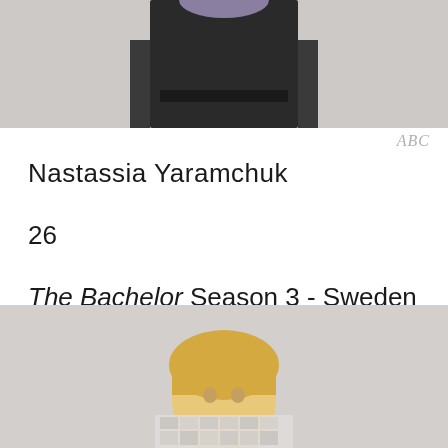[Figure (photo): Partial photo of a person in dark clothing against a light grey background, cropped at waist/torso. Top portion of the page.]
ABC
Nastassia Yaramchuk
26
The Bachelor Season 3 - Sweden
[Figure (photo): Photo of a person with blonde hair against a light grey background, showing head and upper body. Bottom portion of the page.]